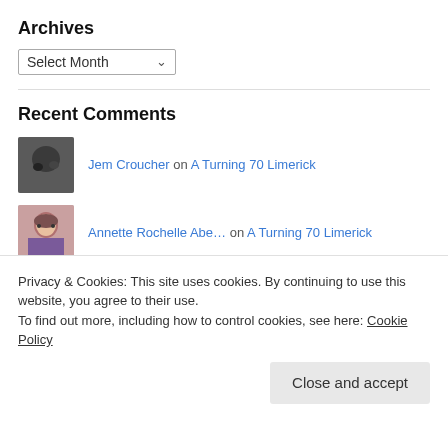Archives
Select Month
Recent Comments
Jem Croucher on A Turning 70 Limerick
Annette Rochelle Abe… on A Turning 70 Limerick
Cindy Georgakas on #130 POETRY =
Privacy & Cookies: This site uses cookies. By continuing to use this website, you agree to their use.
To find out more, including how to control cookies, see here: Cookie Policy
Close and accept